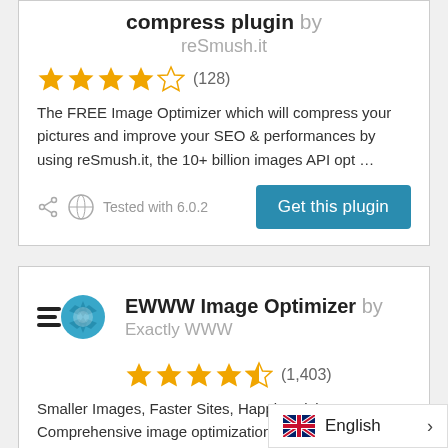compress plugin by reSmush.it
★★★★☆ (128)
The FREE Image Optimizer which will compress your pictures and improve your SEO & performances by using reSmush.it, the 10+ billion images API opt …
Tested with 6.0.2
EWWW Image Optimizer by Exactly WWW
★★★★½ (1,403)
Smaller Images, Faster Sites, Happier Visitors. Comprehensive image optimization that doesn't require a degree in rocket science.
English >